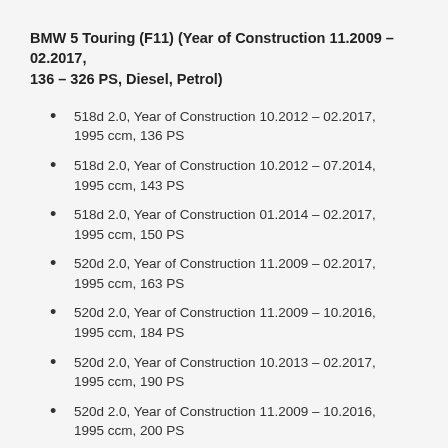BMW 5 Touring (F11) (Year of Construction 11.2009 – 02.2017, 136 – 326 PS, Diesel, Petrol)
518d 2.0, Year of Construction 10.2012 – 02.2017, 1995 ccm, 136 PS
518d 2.0, Year of Construction 10.2012 – 07.2014, 1995 ccm, 143 PS
518d 2.0, Year of Construction 01.2014 – 02.2017, 1995 ccm, 150 PS
520d 2.0, Year of Construction 11.2009 – 02.2017, 1995 ccm, 163 PS
520d 2.0, Year of Construction 11.2009 – 10.2016, 1995 ccm, 184 PS
520d 2.0, Year of Construction 10.2013 – 02.2017, 1995 ccm, 190 PS
520d 2.0, Year of Construction 11.2009 – 10.2016, 1995 ccm, 200 PS